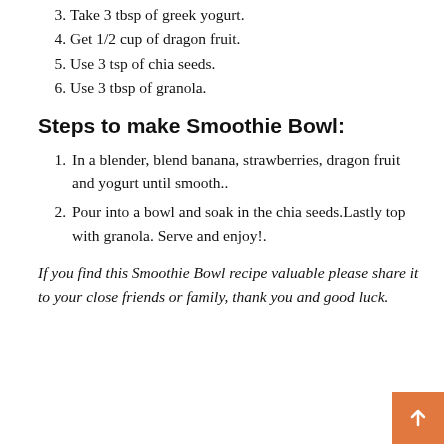3. Take 3 tbsp of greek yogurt.
4. Get 1/2 cup of dragon fruit.
5. Use 3 tsp of chia seeds.
6. Use 3 tbsp of granola.
Steps to make Smoothie Bowl:
1. In a blender, blend banana, strawberries, dragon fruit and yogurt until smooth..
2. Pour into a bowl and soak in the chia seeds.Lastly top with granola. Serve and enjoy!.
If you find this Smoothie Bowl recipe valuable please share it to your close friends or family, thank you and good luck.